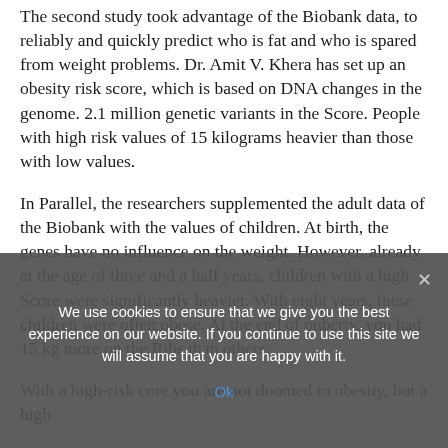The second study took advantage of the Biobank data, to reliably and quickly predict who is fat and who is spared from weight problems. Dr. Amit V. Khera has set up an obesity risk score, which is based on DNA changes in the genome. 2.1 million genetic variants in the Score. People with high risk values of 15 kilograms heavier than those with low values.
In Parallel, the researchers supplemented the adult data of the Biobank with the values of children. At birth, the genes have no influence on the weight. However, already at the age of three and a half years, children with a high Score were significantly heavier. With eight years, these children were often obese. At the end of puberty, you had 15 kg more on the Ribs than others.
With a high-risk core you are not doomed to obesity, but a high
We use cookies to ensure that we give you the best experience on our website. If you continue to use this site we will assume that you are happy with it.
Ok